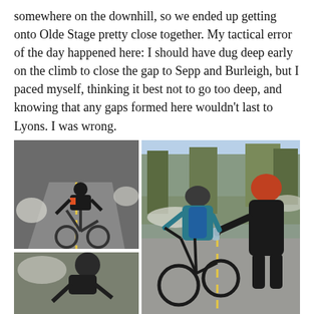somewhere on the downhill, so we ended up getting onto Olde Stage pretty close together. My tactical error of the day happened here: I should have dug deep early on the climb to close the gap to Sepp and Burleigh, but I paced myself, thinking it best not to go too deep, and knowing that any gaps formed here wouldn't last to Lyons. I was wrong.
[Figure (photo): Left top: A cyclist in black and orange kit riding a road bike on a road with snow on the sides. Left bottom: A cyclist in black kit leaning forward on their bike. Right: A cyclist in blue kit receiving a water bottle from a person in a black puffy coat with red hair, on a road with snow patches and trees in the background.]